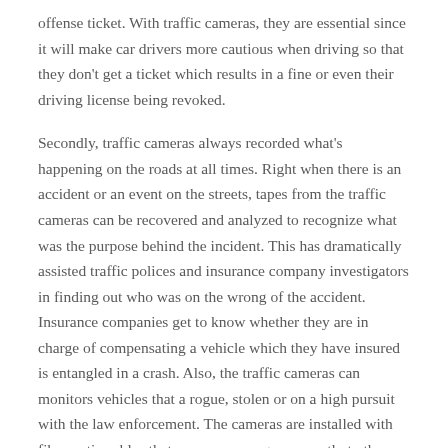offense ticket. With traffic cameras, they are essential since it will make car drivers more cautious when driving so that they don't get a ticket which results in a fine or even their driving license being revoked.
Secondly, traffic cameras always recorded what's happening on the roads at all times. Right when there is an accident or an event on the streets, tapes from the traffic cameras can be recovered and analyzed to recognize what was the purpose behind the incident. This has dramatically assisted traffic polices and insurance company investigators in finding out who was on the wrong of the accident. Insurance companies get to know whether they are in charge of compensating a vehicle which they have insured is entangled in a crash. Also, the traffic cameras can monitors vehicles that a rogue, stolen or on a high pursuit with the law enforcement. The cameras are installed with fiber optic cables that convey messages promptly to the traffic